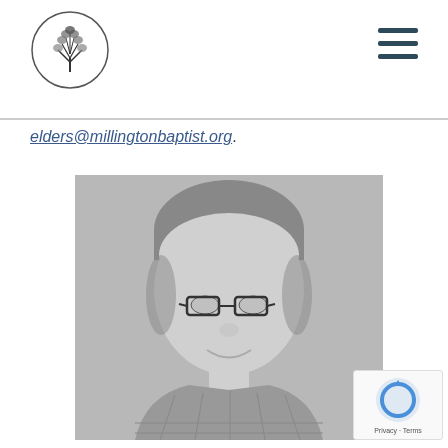Millington Baptist Church logo and navigation
elders@millingtonbaptist.org.
[Figure (photo): Black and white headshot photo of a middle-aged man with glasses, short hair, and a slight smile, wearing a plaid shirt]
[Figure (other): reCAPTCHA badge with Privacy and Terms links]